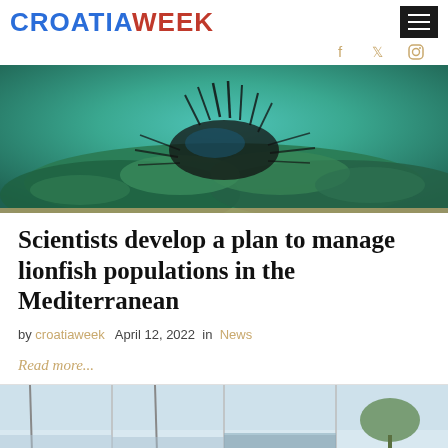CROATIAWEEK
[Figure (photo): Underwater photograph showing a lionfish among green coral and rocks in the Mediterranean sea]
Scientists develop a plan to manage lionfish populations in the Mediterranean
by croatiaweek   April 12, 2022  in  News
Read more...
[Figure (photo): Partial view of another article image showing outdoor/sailing scene, cropped at bottom of page]